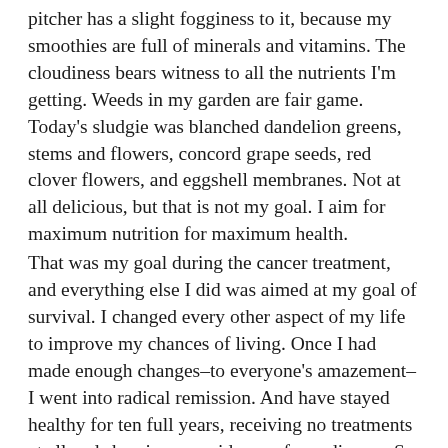pitcher has a slight fogginess to it, because my smoothies are full of minerals and vitamins. The cloudiness bears witness to all the nutrients I'm getting. Weeds in my garden are fair game. Today's sludgie was blanched dandelion greens, stems and flowers, concord grape seeds, red clover flowers, and eggshell membranes. Not at all delicious, but that is not my goal. I aim for maximum nutrition for maximum health.
That was my goal during the cancer treatment, and everything else I did was aimed at my goal of survival. I changed every other aspect of my life to improve my chances of living. Once I had made enough changes–to everyone's amazement–I went into radical remission. And have stayed healthy for ten full years, receiving no treatments at all and showing no evidence of any disease. So I am keeping these changes because I like being healthy and alive! And I am delighted to have outlived my blender. If you are looking for guidance on how to get out of cancerland, perhaps we can work together to free you as